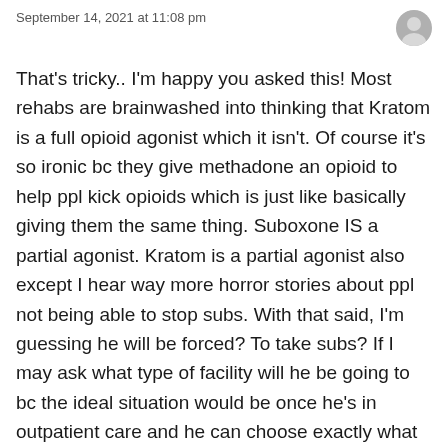September 14, 2021 at 11:08 pm
That's tricky.. I'm happy you asked this! Most rehabs are brainwashed into thinking that Kratom is a full opioid agonist which it isn't. Of course it's so ironic bc they give methadone an opioid to help ppl kick opioids which is just like basically giving them the same thing. Suboxone IS a partial agonist. Kratom is a partial agonist also except I hear way more horror stories about ppl not being able to stop subs. With that said, I'm guessing he will be forced? To take subs? If I may ask what type of facility will he be going to bc the ideal situation would be once he's in outpatient care and he can choose exactly what he puts into his body. If you want him to consume Kratom for example, it will help with mental depression and anxiety along with withdrawals from whatever he's